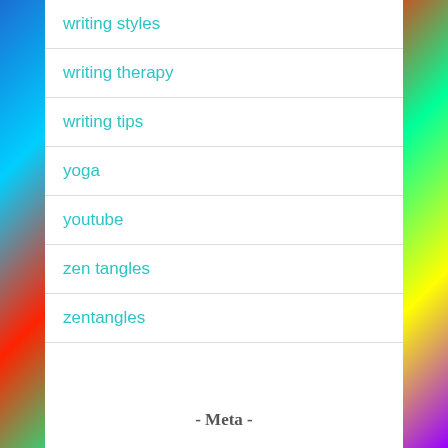writing styles
writing therapy
writing tips
yoga
youtube
zen tangles
zentangles
- Meta -